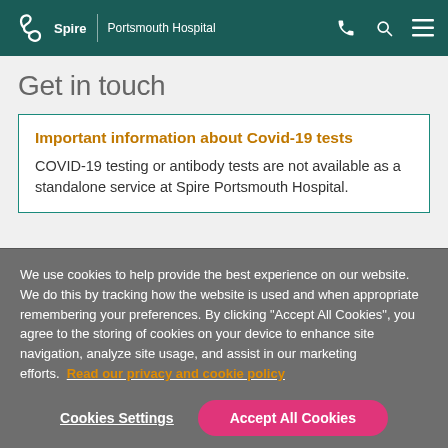Spire | Portsmouth Hospital
Get in touch
Important information about Covid-19 tests
COVID-19 testing or antibody tests are not available as a standalone service at Spire Portsmouth Hospital.
We use cookies to help provide the best experience on our website. We do this by tracking how the website is used and when appropriate remembering your preferences. By clicking "Accept All Cookies", you agree to the storing of cookies on your device to enhance site navigation, analyze site usage, and assist in our marketing efforts. Read our privacy and cookie policy
Cookies Settings
Accept All Cookies